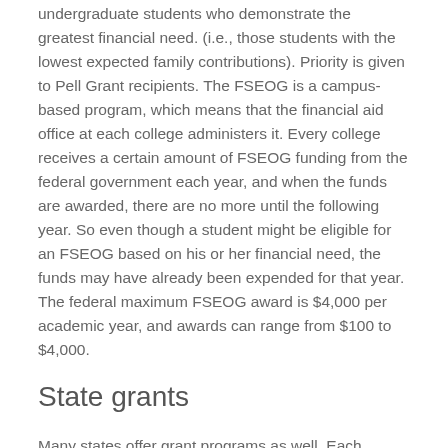undergraduate students who demonstrate the greatest financial need. (i.e., those students with the lowest expected family contributions). Priority is given to Pell Grant recipients. The FSEOG is a campus-based program, which means that the financial aid office at each college administers it. Every college receives a certain amount of FSEOG funding from the federal government each year, and when the funds are awarded, there are no more until the following year. So even though a student might be eligible for an FSEOG based on his or her financial need, the funds may have already been expended for that year. The federal maximum FSEOG award is $4,000 per academic year, and awards can range from $100 to $4,000.
State grants
Many states offer grant programs as well. Each state's grant program is different, many give special preference to state residents planning to attend an